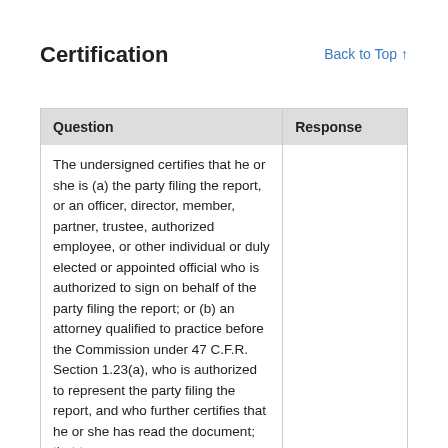Certification
Back to Top ↑
| Question | Response |
| --- | --- |
| The undersigned certifies that he or she is (a) the party filing the report, or an officer, director, member, partner, trustee, authorized employee, or other individual or duly elected or appointed official who is authorized to sign on behalf of the party filing the report; or (b) an attorney qualified to practice before the Commission under 47 C.F.R. Section 1.23(a), who is authorized to represent the party filing the report, and who further certifies that he or she has read the document; that to |  |